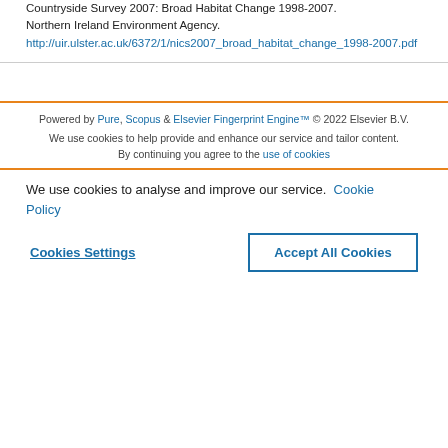Countryside Survey 2007: Broad Habitat Change 1998-2007. Northern Ireland Environment Agency. http://uir.ulster.ac.uk/6372/1/nics2007_broad_habitat_change_1998-2007.pdf
Powered by Pure, Scopus & Elsevier Fingerprint Engine™ © 2022 Elsevier B.V.
We use cookies to help provide and enhance our service and tailor content. By continuing you agree to the use of cookies
We use cookies to analyse and improve our service. Cookie Policy
Cookies Settings
Accept All Cookies